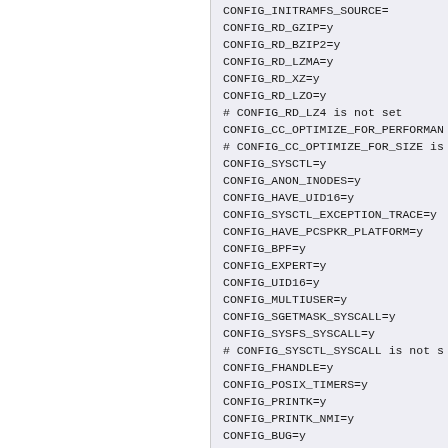CONFIG_INITRAMFS_SOURCE=
CONFIG_RD_GZIP=y
CONFIG_RD_BZIP2=y
CONFIG_RD_LZMA=y
CONFIG_RD_XZ=y
CONFIG_RD_LZO=y
# CONFIG_RD_LZ4 is not set
CONFIG_CC_OPTIMIZE_FOR_PERFORMANCE=y
# CONFIG_CC_OPTIMIZE_FOR_SIZE is not set
CONFIG_SYSCTL=y
CONFIG_ANON_INODES=y
CONFIG_HAVE_UID16=y
CONFIG_SYSCTL_EXCEPTION_TRACE=y
CONFIG_HAVE_PCSPKR_PLATFORM=y
CONFIG_BPF=y
CONFIG_EXPERT=y
CONFIG_UID16=y
CONFIG_MULTIUSER=y
CONFIG_SGETMASK_SYSCALL=y
CONFIG_SYSFS_SYSCALL=y
# CONFIG_SYSCTL_SYSCALL is not set
CONFIG_FHANDLE=y
CONFIG_POSIX_TIMERS=y
CONFIG_PRINTK=y
CONFIG_PRINTK_NMI=y
CONFIG_BUG=y
CONFIG_ELF_CORE=y
CONFIG_PCSPKR_PLATFORM=y
CONFIG_BASE_FULL=y
CONFIG_FUTEX=y
CONFIG_FUTEX_PI=y
CONFIG_EPOLL=y
CONFIG_SIGNALED=y